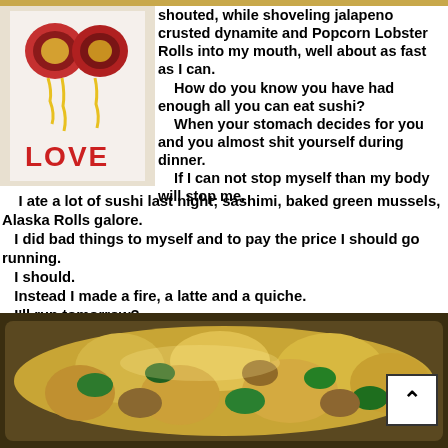[Figure (photo): Photo of sushi rolls with 'LOVE' written in sauce on white paper/tablecloth]
shouted, while shoveling jalapeno crusted dynamite and Popcorn Lobster Rolls into my mouth, well about as fast as I can.
    How do you know you have had enough all you can eat sushi?    When your stomach decides for you and you almost shit yourself during dinner.
    If I can not stop myself than my body will stop me.
I ate a lot of sushi last night; sashimi, baked green mussels, Alaska Rolls galore.
    I did bad things to myself and to pay the price I should go running.
    I should.
    Instead I made a fire, a latte and a quiche.
    I'll run tomorrow?
[Figure (photo): Photo of a quiche or baked dish with green vegetables and cheese on top in a baking pan]